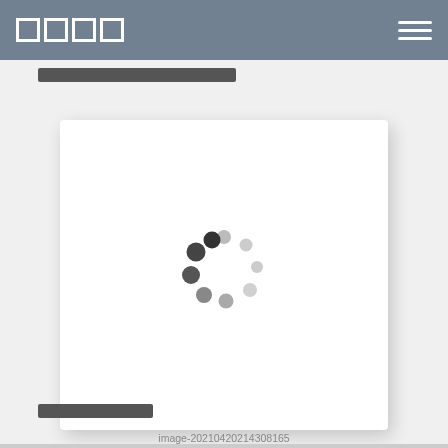□□□□
□□□□□□□□□□□□□□□□□□□□□
[Figure (screenshot): A white card with a loading spinner animation (circular dots in various shades of gray and dark gray arranged in a circle), set against a light background with a subtle drop shadow.]
image-20210420214308165
□□□□□□□□□□□